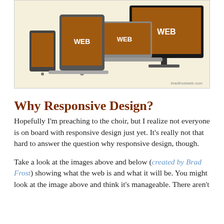[Figure (illustration): Illustration of multiple web-connected devices (tablet, laptops, desktop monitor) showing 'WEB' on orange/brown screens, arranged together. Watermark text 'bradfrostweb.com' visible in bottom right of image.]
Why Responsive Design?
Hopefully I’m preaching to the choir, but I realize not everyone is on board with responsive design just yet. It’s really not that hard to answer the question why responsive design, though.
Take a look at the images above and below (created by Brad Frost) showing what the web is and what it will be. You might look at the image above and think it’s manageable. There aren’t that many types of devices after all. If...